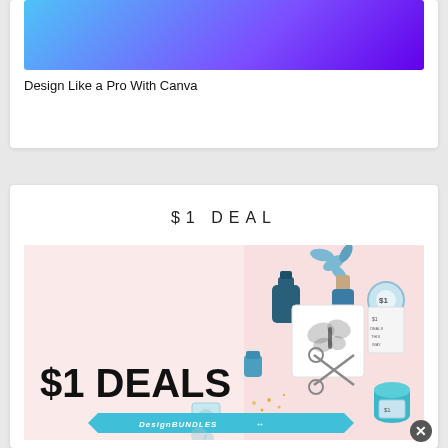[Figure (illustration): Gradient background image (blue to purple) for Design Like a Pro With Canva card]
Design Like a Pro With Canva
$1 DEAL
[Figure (photo): Promotional image for $1 Deals by DesignBundles showing craft items, scissors, flowers, ink bottles, and bold text '$1 DEALS by DesignBundles']